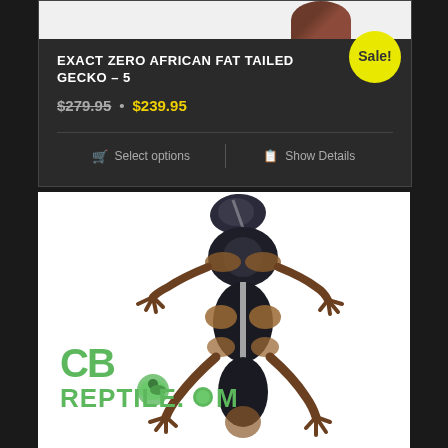EXACT ZERO AFRICAN FAT TAILED GECKO - 5
$279.95 • $239.95
Select options | Show Details
[Figure (photo): African Fat Tailed Gecko photographed from above on white background, showing dark brown and tan patterning. CB Reptile.com watermark visible in lower left.]